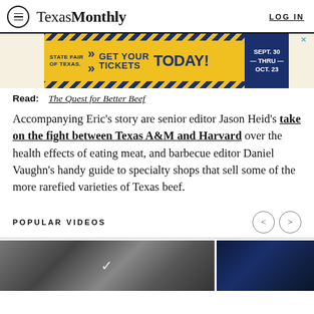Texas Monthly  LOG IN
[Figure (other): State Fair of Texas advertisement banner: GET YOUR TICKETS TODAY! SEPT 30 — THRU — OCT. 23]
Read: The Quest for Better Beef
Accompanying Eric's story are senior editor Jason Heid's take on the fight between Texas A&M and Harvard over the health effects of eating meat, and barbecue editor Daniel Vaughn's handy guide to specialty shops that sell some of the more rarefied varieties of Texas beef.
POPULAR VIDEOS
[Figure (photo): Video thumbnails strip showing black and white photos and a dark blue abstract image]